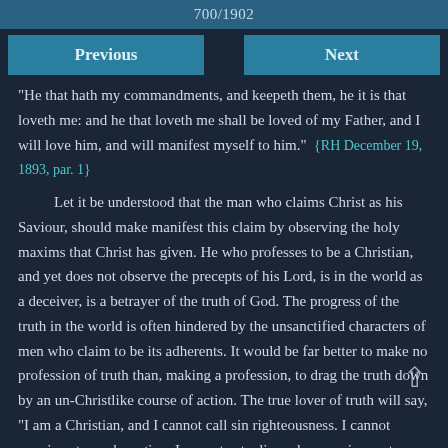700/1902
Previous
Next
"He that hath my commandments, and keepeth them, he it is that loveth me: and he that loveth me shall be loved of my Father, and I will love him, and will manifest myself to him."  {RH December 19, 1893, par. 1}
Let it be understood that the man who claims Christ as his Saviour, should make manifest this claim by observing the holy maxims that Christ has given. He who professes to be a Christian, and yet does not observe the precepts of his Lord, is in the world as a deceiver, is a betrayer of the truth of God. The progress of the truth in the world is often hindered by the unsanctified characters of men who claim to be its adherents. It would be far better to make no profession of truth than, making a profession, to drag the truth down by an un-Christlike course of action. The true lover of truth will say, "I am a Christian, and I cannot call sin righteousness. I cannot connive at any deception. I cannot act a lie under any circumstances, nor look upon sin as a light thing."  {RH December 19, 1893, par. 2}
Through the repetition of that which the word of God condemns, the conscience becomes hardened, and prevarication and fraud, long practiced,